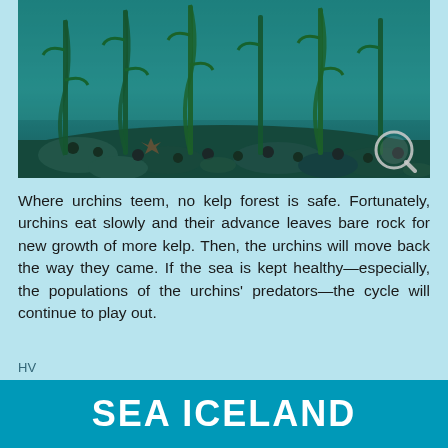[Figure (photo): Underwater photograph showing a kelp forest with sea urchins and marine life on the ocean floor, with tall kelp stalks rising from rocky substrate covered in urchins and other organisms. A magnifying glass icon appears in the lower right corner of the image.]
Where urchins teem, no kelp forest is safe. Fortunately, urchins eat slowly and their advance leaves bare rock for new growth of more kelp. Then, the urchins will move back the way they came. If the sea is kept healthy—especially, the populations of the urchins' predators—the cycle will continue to play out.
HV
SEA ICELAND